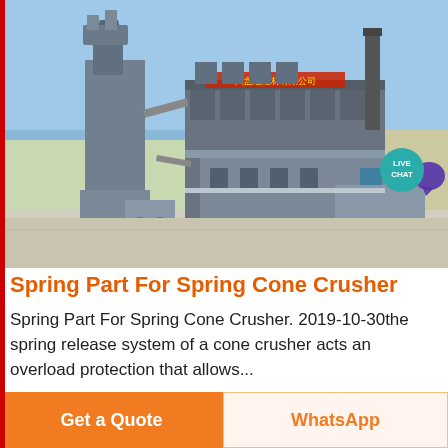[Figure (photo): Aerial/elevated view of a large industrial facility, likely a mining or aggregate processing plant, with grey multi-story buildings, conveyor systems, silos, and a chimney stack against a clear blue sky. Chinese text visible on a red sign on the building.]
Spring Part For Spring Cone Crusher
Spring Part For Spring Cone Crusher. 2019-10-30the spring release system of a cone crusher acts an overload protection that allows...